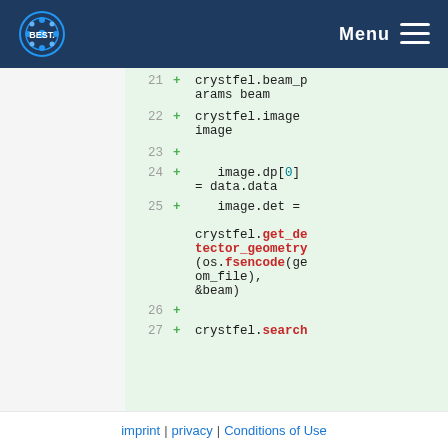Menu
[Figure (screenshot): Code diff view showing lines 21-27+ of Python code using crystfel library. Lines show crystfel.beam_params beam, crystfel.image image, image.dp[0] = data.data, image.det = crystfel.get_detector_geometry(os.fsencode(geom_file), &beam), and crystfel.search]
imprint | privacy | Conditions of Use